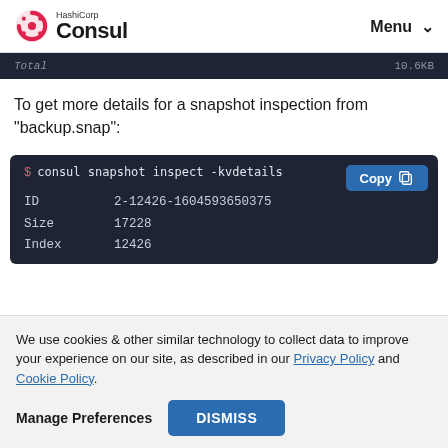HashiCorp Consul — Menu
[Figure (screenshot): Partial code block showing 'Total  10.6KB' line on dark background]
To get more details for a snapshot inspection from "backup.snap":
[Figure (screenshot): Code block showing: $ consul snapshot inspect -kvdetails, ID 2-12426-1604593650375, Size 17228, Index 12426, with Copy button]
We use cookies & other similar technology to collect data to improve your experience on our site, as described in our Privacy Policy and Cookie Policy.
Manage Preferences  DISMISS